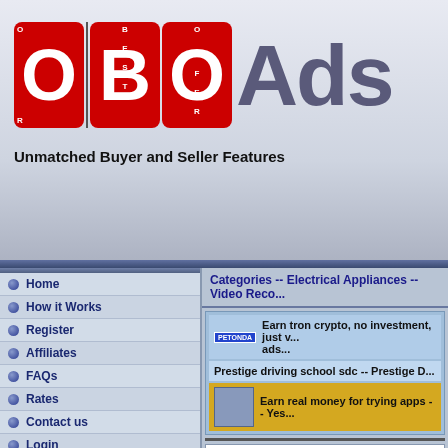[Figure (logo): OBO Ads logo with red letter blocks spelling OBO and grey Ads text]
Unmatched Buyer and Seller Features
Categories -- Electrical Appliances -- Video Reco...
Home
How it Works
Register
Affiliates
FAQs
Rates
Contact us
Login
Partner Sites
TrafficG Promotion
Web Hosting
Free Rotator
All4Webs
Earn tron crypto, no investment, just v... ads...
Prestige driving school sdc -- Prestige D...
Earn real money for trying apps -- Yes...
Place Y...